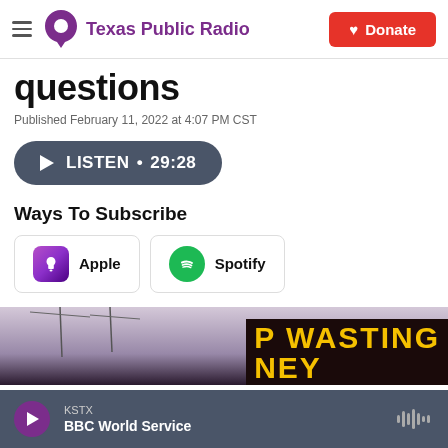Texas Public Radio | Donate
questions
Published February 11, 2022 at 4:07 PM CST
LISTEN • 29:28
Ways To Subscribe
Apple
Spotify
[Figure (photo): Partial view of a sign reading 'WASTING MONEY' (or similar) with yellow letters on dark background, sky visible in top portion.]
KSTX  BBC World Service